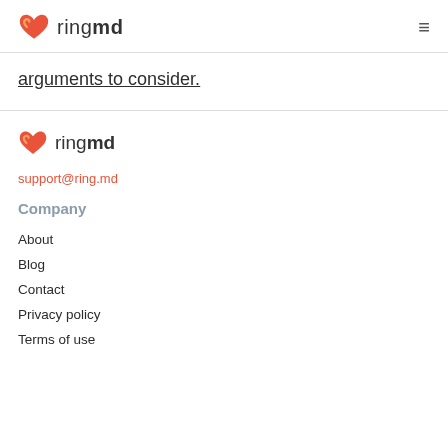ringmd
arguments to consider.
[Figure (logo): RingMD logo with heart icon and text 'ringmd']
support@ring.md
Company
About
Blog
Contact
Privacy policy
Terms of use